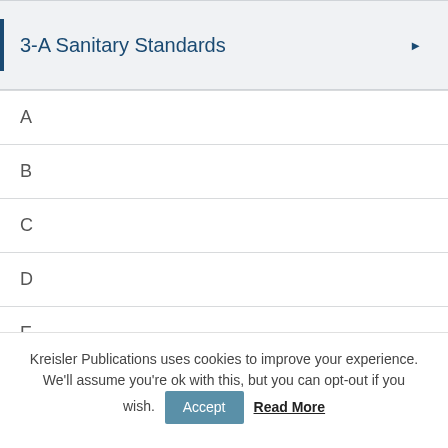3-A Sanitary Standards
A
B
C
D
E
Kreisler Publications uses cookies to improve your experience. We'll assume you're ok with this, but you can opt-out if you wish.